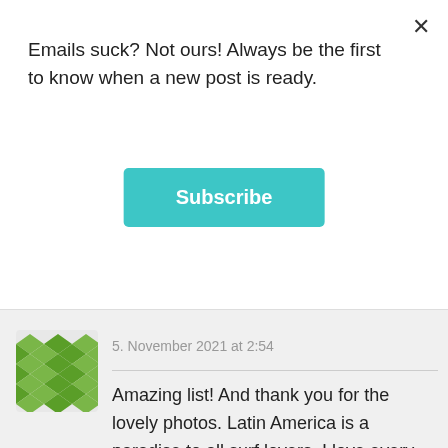Emails suck? Not ours! Always be the first to know when a new post is ready.
Subscribe
5. November 2021 at 2:54
[Figure (illustration): Green diamond pattern avatar icon]
Amazing list! And thank you for the lovely photos. Latin America is a paradise to all surf lovers. I love every beach on this list, especially Pavones and Santa Catalina. Those waves are mesmerizing. I also have a list of top surfing destinations around the world that you would definitely enjoy visiting as well. Read more about it here: